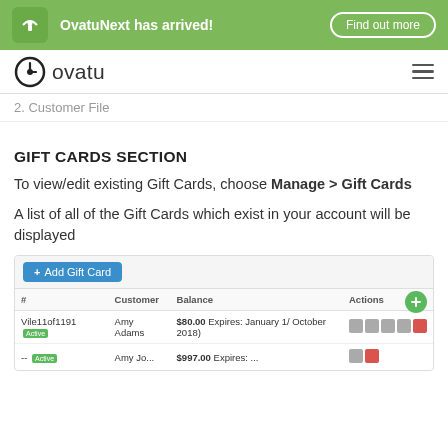OvatuNext has arrived! Find out more
[Figure (screenshot): Ovatu logo with clock icon and hamburger menu]
2. Customer File
GIFT CARDS SECTION
To view/edit existing Gift Cards, choose Manage > Gift Cards
A list of all of the Gift Cards which exist in your account will be displayed
[Figure (screenshot): Gift Cards management table screenshot showing Add Gift Card button, table with columns #, Customer, Balance, Actions, and two rows of data]